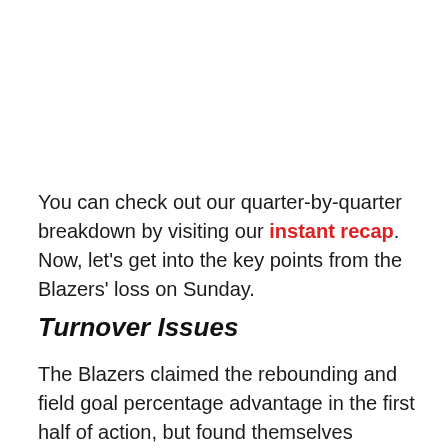You can check out our quarter-by-quarter breakdown by visiting our instant recap. Now, let's get into the key points from the Blazers' loss on Sunday.
Turnover Issues
The Blazers claimed the rebounding and field goal percentage advantage in the first half of action, but found themselves behind the Heat in the points column due to a lopsided turnover battle. Miami's zone defense lived in the passing lanes and swarmed ball